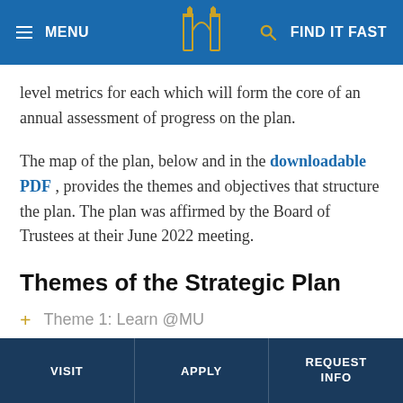MENU | [logo] | FIND IT FAST
level metrics for each which will form the core of an annual assessment of progress on the plan.
The map of the plan, below and in the downloadable PDF , provides the themes and objectives that structure the plan.  The plan was affirmed by the Board of Trustees at their June 2022 meeting.
Themes of the Strategic Plan
Theme 1: Learn @MU
VISIT | APPLY | REQUEST INFO